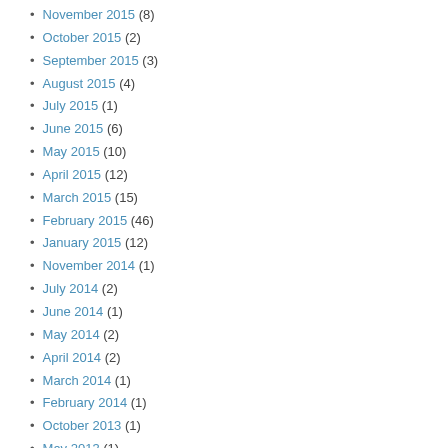November 2015 (8)
October 2015 (2)
September 2015 (3)
August 2015 (4)
July 2015 (1)
June 2015 (6)
May 2015 (10)
April 2015 (12)
March 2015 (15)
February 2015 (46)
January 2015 (12)
November 2014 (1)
July 2014 (2)
June 2014 (1)
May 2014 (2)
April 2014 (2)
March 2014 (1)
February 2014 (1)
October 2013 (1)
May 2013 (1)
February 2013 (1)
January 2013 (1)
October 2012 (1)
December 2011 (2)
November 2011 (1)
October 2011 (1)
August 2011 (3)